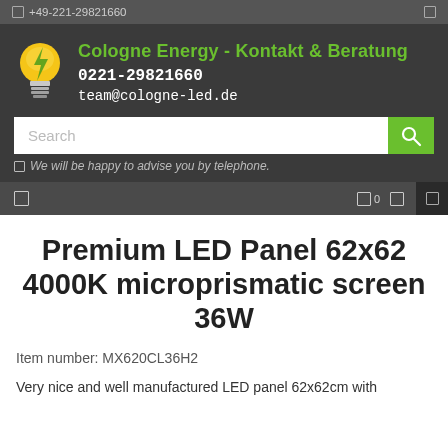☎ +49-221-29821660
[Figure (logo): Cologne Energy lightbulb logo with yellow bulb and green lightning bolt]
Cologne Energy - Kontakt & Beratung
0221-29821660
team@cologne-led.de
Search
☎ We will be happy to advise you by telephone.
Premium LED Panel 62x62 4000K microprismatic screen 36W
Item number: MX620CL36H2
Very nice and well manufactured LED panel 62x62cm with